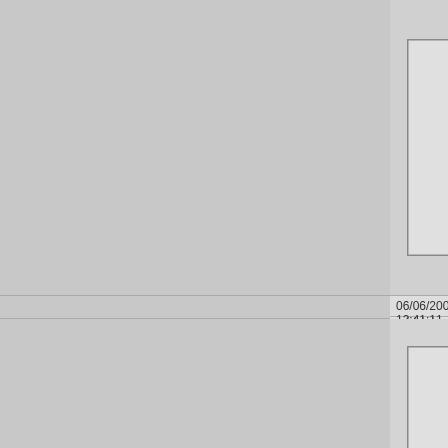"Two of a Kind" by Rachel53
Comment by drake217: Too funny but way too blurry.
06/06/2008 12:41:11 AM
"Two of a Kind" by Rachel53
Comment by Moose408: Would have been much better if it was in focus.
06/05/2008 02:22:39 AM
"Two of a Kind" by Rachel53
Comment by bspurgeon: funny
06/04/2008 01:39:44 PM
"Two of a Kind" by Rachel53